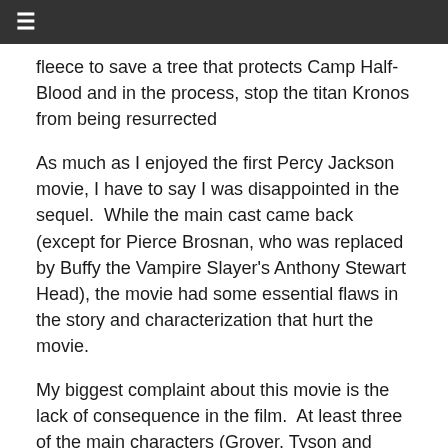☰
fleece to save a tree that protects Camp Half-Blood and in the process, stop the titan Kronos from being resurrected
As much as I enjoyed the first Percy Jackson movie, I have to say I was disappointed in the sequel.  While the main cast came back (except for Pierce Brosnan, who was replaced by Buffy the Vampire Slayer's Anthony Stewart Head), the movie had some essential flaws in the story and characterization that hurt the movie.
My biggest complaint about this movie is the lack of consequence in the film.  At least three of the main characters (Grover, Tyson and Annabeth) encounter injuries and/or events that should have seen them dead.  Yet, in each case, the character comes back to life, usually grinning sunnily, like five minutes later.  I hate when that happens; I think the genesis of any great story is the risk that the characters you root for are put in.  If you don't feel that there was be any consequence for the risk their actions cause, then there's no point in investing